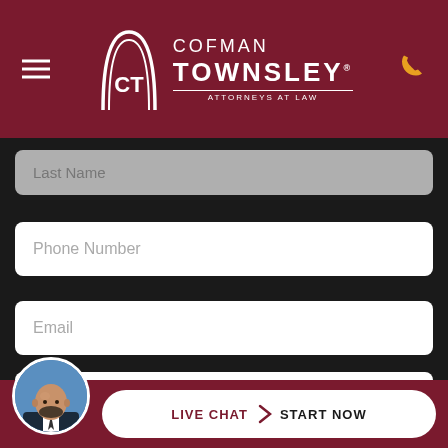[Figure (logo): Cofman Townsley Attorneys at Law logo with CT arch gateway symbol on dark red header bar]
Last Name
Phone Number
Email
How can we help you?
[Figure (photo): Circular avatar photo of a bald bearded man in a suit]
LIVE CHAT  START NOW